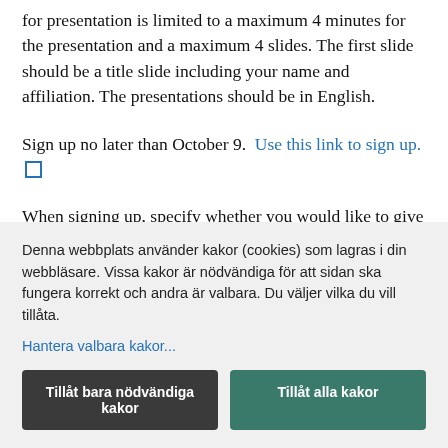for presentation is limited to a maximum 4 minutes for the presentation and a maximum 4 slides. The first slide should be a title slide including your name and affiliation. The presentations should be in English.
Sign up no later than October 9. Use this link to sign up.
When signing up, specify whether you would like to give a presentation. You will receive notification after October 9...
Denna webbplats använder kakor (cookies) som lagras i din webbläsare. Vissa kakor är nödvändiga för att sidan ska fungera korrekt och andra är valbara. Du väljer vilka du vill tillåta.
Hantera valbara kakor...
Tillåt bara nödvändiga kakor
Tillåt alla kakor